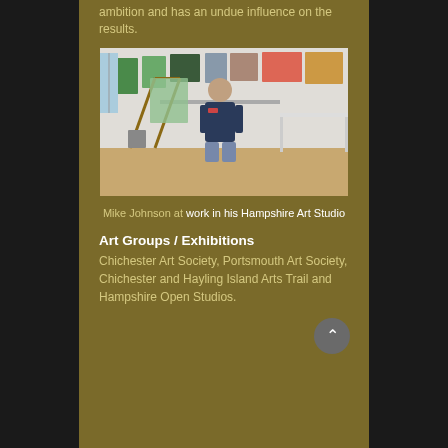ambition and has an undue influence on the results.
[Figure (photo): Mike Johnson sitting in his art studio surrounded by paintings on the wall, an easel with artwork, art supplies, and a work desk.]
Mike Johnson at work in his Hampshire Art Studio
Art Groups / Exhibitions
Chichester Art Society, Portsmouth Art Society, Chichester and Hayling Island Arts Trail and Hampshire Open Studios.